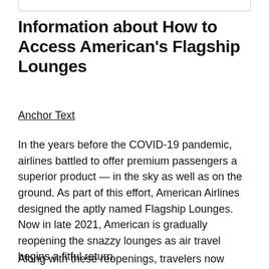Information about How to Access American's Flagship Lounges
Anchor Text
In the years before the COVID-19 pandemic, airlines battled to offer premium passengers a superior product — in the sky as well as on the ground. As part of this effort, American Airlines designed the aptly named Flagship Lounges. Now in late 2021, American is gradually reopening the snazzy lounges as air travel begins a fitful return.
Along with these reopenings, travelers now